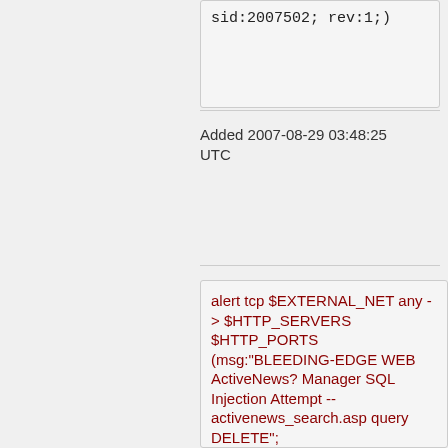sid:2007502; rev:1;)
Added 2007-08-29 03:48:25 UTC
alert tcp $EXTERNAL_NET any -> $HTTP_SERVERS $HTTP_PORTS (msg:"BLEEDING-EDGE WEB ActiveNews? Manager SQL Injection Attempt -- activenews_search.asp query DELETE"; flow:established,to_server; uricontent:"/activenews_s nocase;